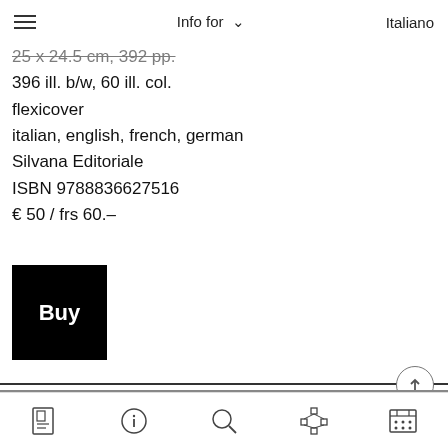Info for   Italiano
23 x 24.5 cm, 392 pp.
396 ill. b/w, 60 ill. col.
flexicover
italian, english, french, german
Silvana Editoriale
ISBN 9788836627516
€ 50 / frs 60.–
Buy
[Figure (screenshot): Book cover image of Panos Koulermos Opera completa on grey background]